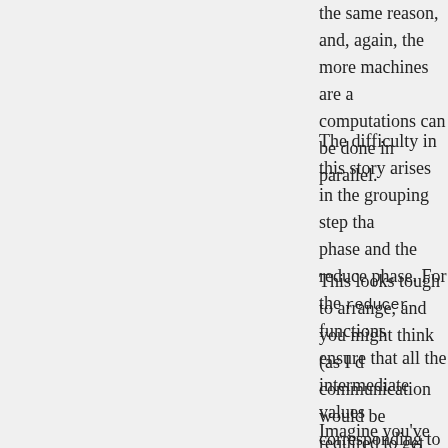the same reason, and, again, the more machines are a… computations can be done in parallel.
The difficulty in this story arises in the grouping step tha… phase and the reduce phase. For the reducer functions… ensure that all the intermediate values corresponding to… same machine. Obviously, this requires communcation… relatively slow network connections.
This looks tough to arrange, and you might think (as I d… communication would be required to get the right data t… Fortunately, a simple and beautiful idea is used to make… up in the right location, without there being too much co…
Imagine you've got 1000 machines that you're going to… mappers compute the intermediate keys and value lists… hash(intermediate_key) mod 1000 for some hash func… identify the machine in the cluster that the correspondin… the resulting intermediate key and value list is then sen… every machine running mappers uses the same hash fu… lists corresponding to the same intermediate key all en… Furthermore, by using a hash we ensure that the interm…